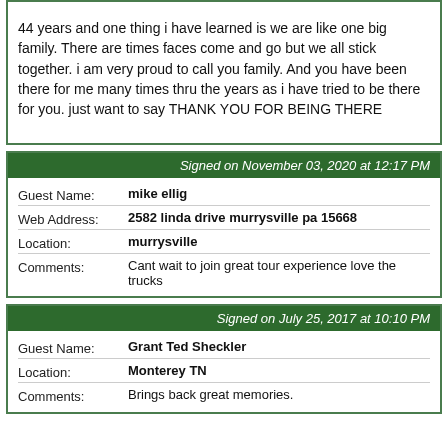44 years and one thing i have learned is we are like one big family. There are times faces come and go but we all stick together. i am very proud to call you family. And you have been there for me many times thru the years as i have tried to be there for you. just want to say THANK YOU FOR BEING THERE
| Signed on November 03, 2020 at 12:17 PM |
| --- |
| Guest Name: | mike ellig |
| Web Address: | 2582 linda drive murrysville pa 15668 |
| Location: | murrysville |
| Comments: | Cant wait to join great tour experience love the trucks |
| Signed on July 25, 2017 at 10:10 PM |
| --- |
| Guest Name: | Grant Ted Sheckler |
| Location: | Monterey TN |
| Comments: | Brings back great memories. |